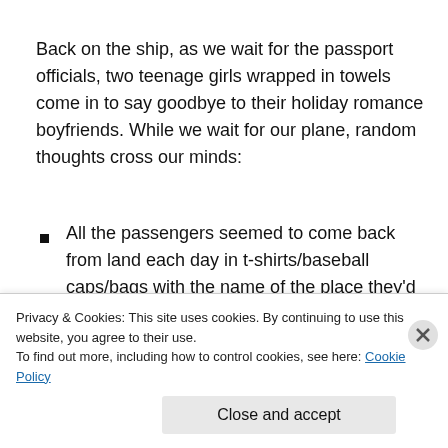Back on the ship, as we wait for the passport officials, two teenage girls wrapped in towels come in to say goodbye to their holiday romance boyfriends. While we wait for our plane, random thoughts cross our minds:
All the passengers seemed to come back from land each day in t-shirts/baseball caps/bags with the name of the place they'd been on them. All the items of clothing are exactly the same other than the slogans. Do they get one for everywhere they go?
Privacy & Cookies: This site uses cookies. By continuing to use this website, you agree to their use.
To find out more, including how to control cookies, see here: Cookie Policy